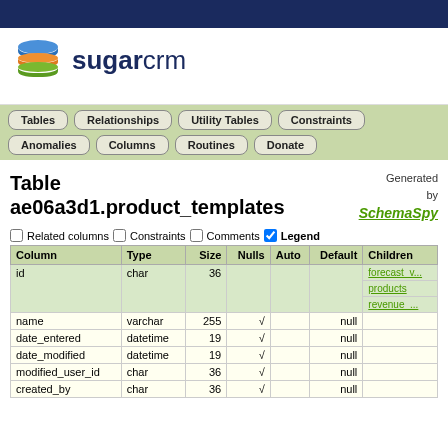[Figure (logo): SugarCRM logo with stacked colored layers icon and sugarcrm text]
Tables
Relationships
Utility Tables
Constraints
Anomalies
Columns
Routines
Donate
Table ae06a3d1.product_templates
Generated by SchemaSpy
Related columns  Constraints  Comments  Legend
| Column | Type | Size | Nulls | Auto | Default | Children |
| --- | --- | --- | --- | --- | --- | --- |
| id | char | 36 |  |  |  | forecast_v... products revenue_... |
| name | varchar | 255 | √ |  | null |  |
| date_entered | datetime | 19 | √ |  | null |  |
| date_modified | datetime | 19 | √ |  | null |  |
| modified_user_id | char | 36 | √ |  | null |  |
| created_by | char | 36 | √ |  | null |  |